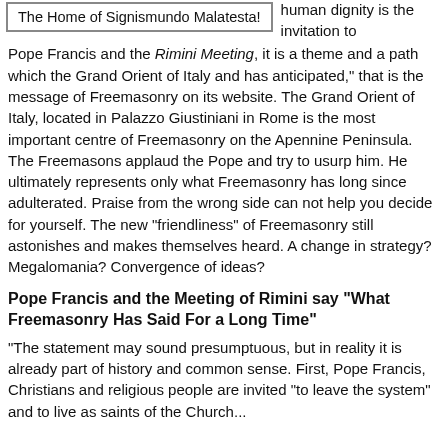The Home of Signismundo Malatesta!
human dignity is the invitation to Pope Francis and the Rimini Meeting, it is a theme and a path which the Grand Orient of Italy and has anticipated," that is the message of Freemasonry on its website. The Grand Orient of Italy, located in Palazzo Giustiniani in Rome is the most important centre of Freemasonry on the Apennine Peninsula. The Freemasons applaud the Pope and try to usurp him. He ultimately represents only what Freemasonry has long since adulterated. Praise from the wrong side can not help you decide for yourself. The new "friendliness" of Freemasonry still astonishes and makes themselves heard. A change in strategy? Megalomania? Convergence of ideas?
Pope Francis and the Meeting of Rimini say "What Freemasonry Has Said For a Long Time"
"The statement may sound presumptuous, but in reality it is already part of history and common sense. First, Pope Francis, Christians and religious people are invited "to leave the system" and to live as saints of the Church...